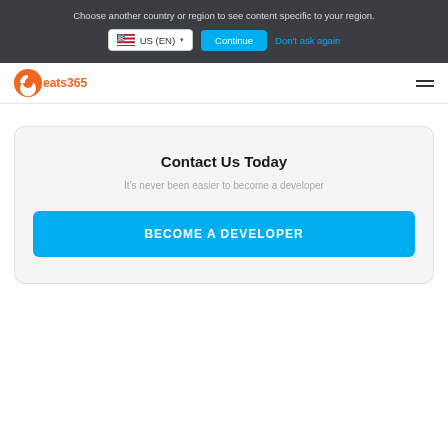Choose another country or region to see content specific to your region.
[Figure (screenshot): Country selector showing US (EN) dropdown with Continue button and Don't ask again link]
[Figure (logo): Eats365 logo with orange C-shaped icon and orange text 'eats365']
Contact Us Today
It's never been easier to become a developer
BECOME A DEVELOPER